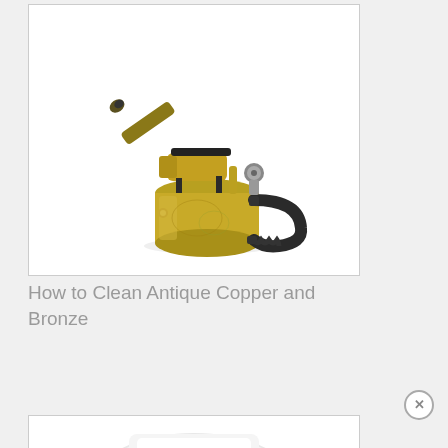[Figure (photo): A brass and iron antique blowtorch with a cylindrical brass fuel tank, dark metal handle and fittings, nozzle pointing upper left, photographed on a white background.]
How to Clean Antique Copper and Bronze
[Figure (photo): Partial view of what appears to be a white ceramic or porcelain object, possibly a dish or bowl, photographed on a white background. Image is cropped at the bottom of the page.]